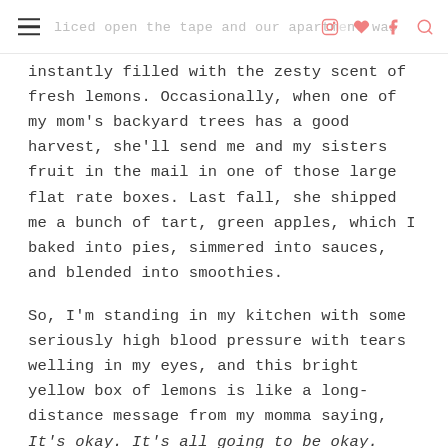liced open the tape and our apartment was
instantly filled with the zesty scent of fresh lemons. Occasionally, when one of my mom's backyard trees has a good harvest, she'll send me and my sisters fruit in the mail in one of those large flat rate boxes. Last fall, she shipped me a bunch of tart, green apples, which I baked into pies, simmered into sauces, and blended into smoothies.
So, I'm standing in my kitchen with some seriously high blood pressure with tears welling in my eyes, and this bright yellow box of lemons is like a long-distance message from my momma saying, It's okay. It's all going to be okay. Make the best of it. Make lemonade.
BACK TO TOP
It's funny how moms always know exactly what to say